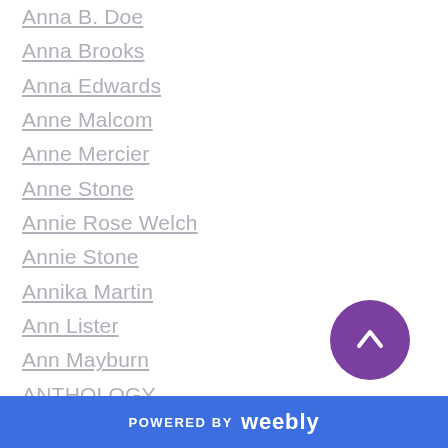Anna B. Doe
Anna Brooks
Anna Edwards
Anne Malcom
Anne Mercier
Anne Stone
Annie Rose Welch
Annie Stone
Annika Martin
Ann Lister
Ann Mayburn
ANTHOLOGY
Aria Cole
AR Vidal
Ashlee Mallory
Ashley Erin
Ashley Hastings
[Figure (other): Purple circular scroll-up button with upward chevron arrow]
POWERED BY weebly